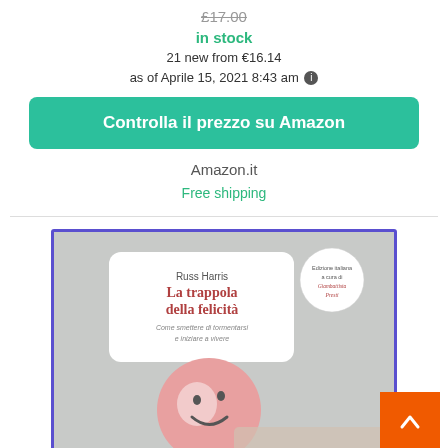£17.00
in stock
21 new from €16.14
as of Aprile 15, 2021 8:43 am ℹ
Controlla il prezzo su Amazon
Amazon.it
Free shipping
[Figure (photo): Book cover of 'La trappola della felicità' by Russ Harris, showing a pink smiley face balloon and Italian book title text, published by Giunti/Barbera Prezzi]